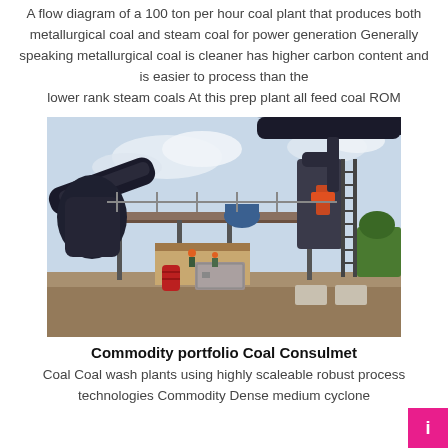A flow diagram of a 100 ton per hour coal plant that produces both metallurgical coal and steam coal for power generation Generally speaking metallurgical coal is cleaner has higher carbon content and is easier to process than the lower rank steam coals At this prep plant all feed coal ROM
[Figure (photo): Photograph of a coal processing plant/wash plant with large industrial equipment including a crusher, conveyor belts, elevated steel platforms, stairs, and workers on site. The plant is situated on bare ground with a partly cloudy sky in the background.]
Commodity portfolio Coal Consulmet
Coal Coal wash plants using highly scaleable robust process technologies Commodity Dense medium cyclone